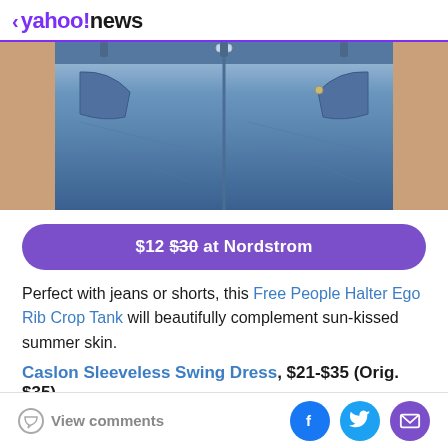< yahoo!news
[Figure (photo): Close-up photo of a person wearing blue denim jeans, showing the waist and front pocket area.]
$12 $30 at Nordstrom
Perfect with jeans or shorts, this Free People Halter Ego Rib Crop Tank will beautifully complement sun-kissed summer skin.
Caslon Sleeveless Swing Dress, $21-$35 (Orig. $35)
View comments